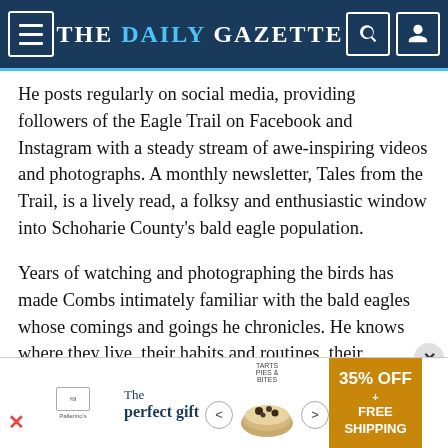THE DAILY GAZETTE
He posts regularly on social media, providing followers of the Eagle Trail on Facebook and Instagram with a steady stream of awe-inspiring videos and photographs. A monthly newsletter, Tales from the Trail, is a lively read, a folksy and enthusiastic window into Schoharie County's bald eagle population.
Years of watching and photographing the birds has made Combs intimately familiar with the bald eagles whose comings and goings he chronicles. He knows where they live, their habits and routines, their hangouts.
[Figure (screenshot): Advertisement banner: 'The perfect gift' with food product image, arrows, and '35% OFF + FREE SHIPPING' offer in gold/brown panel]